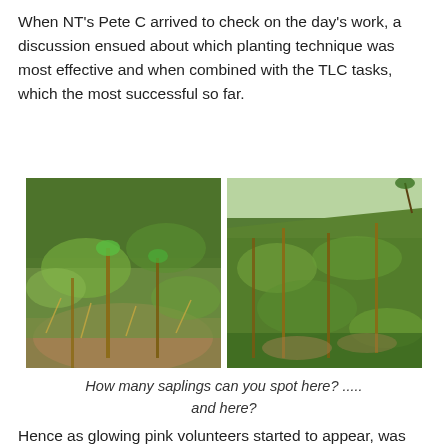When NT's Pete C arrived to check on the day's work, a discussion ensued about which planting technique was most effective and when combined with the TLC tasks, which the most successful so far.
[Figure (photo): Two side-by-side photographs of a hillside planting area showing saplings among grass and vegetation, with wooden stakes visible.]
How many saplings can you spot here? ..... and here?
Hence as glowing pink volunteers started to appear, was